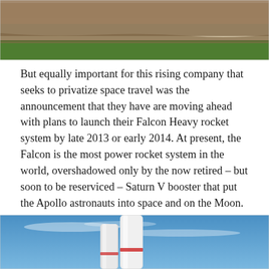[Figure (photo): A dust storm or brown haze horizon over a green field under a grey sky.]
But equally important for this rising company that seeks to privatize space travel was the announcement that they have are moving ahead with plans to launch their Falcon Heavy rocket system by late 2013 or early 2014. At present, the Falcon is the most power rocket system in the world, overshadowed only by the now retired – but soon to be reserviced – Saturn V booster that put the Apollo astronauts into space and on the Moon.
[Figure (photo): Illustration of white Falcon Heavy rocket against a blue sky with clouds.]